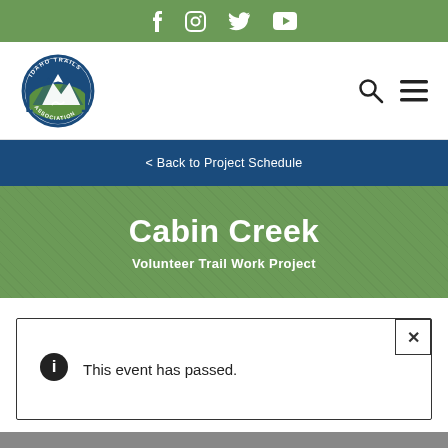Social media icons: Facebook, Instagram, Twitter, YouTube
[Figure (logo): Idaho Trails Association circular logo with mountain and river illustration]
< Back to Project Schedule
Cabin Creek
Volunteer Trail Work Project
ℹ This event has passed.